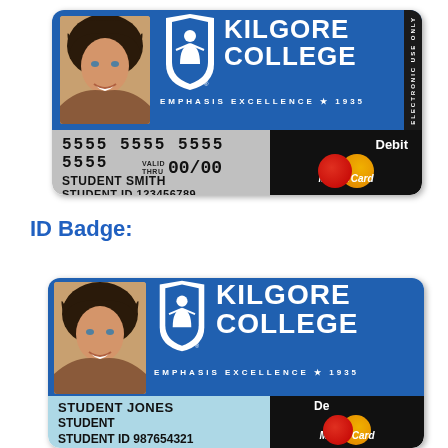[Figure (illustration): Kilgore College student debit MasterCard ID. Shows photo of young woman with dark hair, Kilgore College logo with blue shield icon, card number 5555 5555 5555 5555, VALID THRU 00/00, name STUDENT SMITH, STUDENT ID 123456789, Debit MasterCard logo. Blue top half, gray and black bottom half. 'ELECTRONIC USE ONLY' on right edge.]
ID Badge:
[Figure (illustration): Kilgore College ID badge card. Shows photo of same young woman, Kilgore College logo, EMPHASIS EXCELLENCE * 1935 tagline. Light blue bottom strip with STUDENT JONES, STUDENT, STUDENT ID 987654321. Black right section with Debit MasterCard logo and chat icon overlay.]